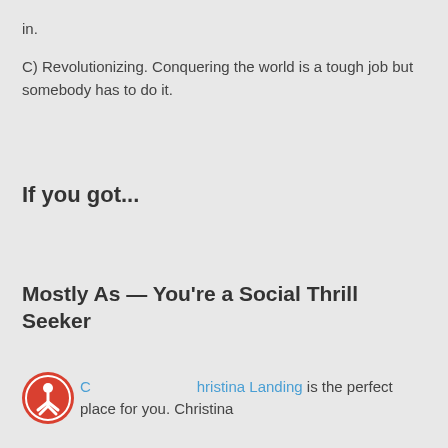in.
C) Revolutionizing. Conquering the world is a tough job but somebody has to do it.
If you got...
Mostly As — You're a Social Thrill Seeker
Christina Landing is the perfect place for you. Christina